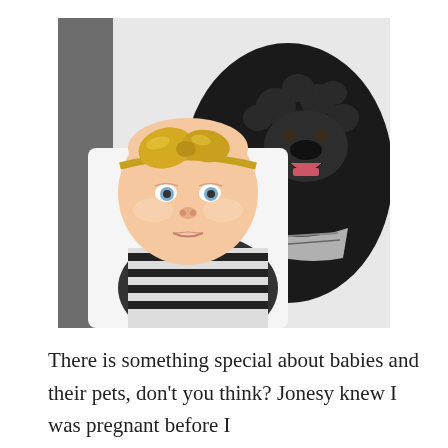[Figure (photo): A baby girl wearing a gold bow headband sits in front of a large black curly-haired dog (poodle mix). The baby has a serious expression and is wearing a black and white striped outfit. The dog is smiling with mouth open, also wearing a plaid bandana. White background.]
There is something special about babies and their pets, don't you think? Jonesy knew I was pregnant before I